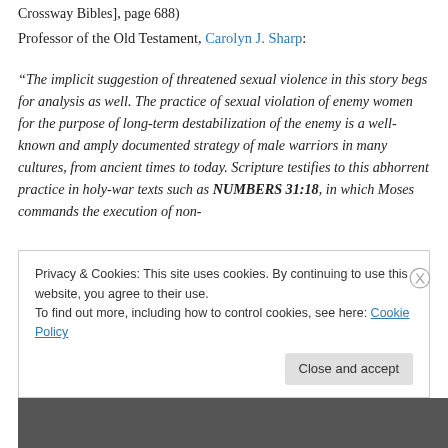Crossway Bibles], page 688)
Professor of the Old Testament, Carolyn J. Sharp:
“The implicit suggestion of threatened sexual violence in this story begs for analysis as well. The practice of sexual violation of enemy women for the purpose of long-term destabilization of the enemy is a well-known and amply documented strategy of male warriors in many cultures, from ancient times to today. Scripture testifies to this abhorrent practice in holy-war texts such as NUMBERS 31:18, in which Moses commands the execution of non-
Privacy & Cookies: This site uses cookies. By continuing to use this website, you agree to their use.
To find out more, including how to control cookies, see here: Cookie Policy
Close and accept